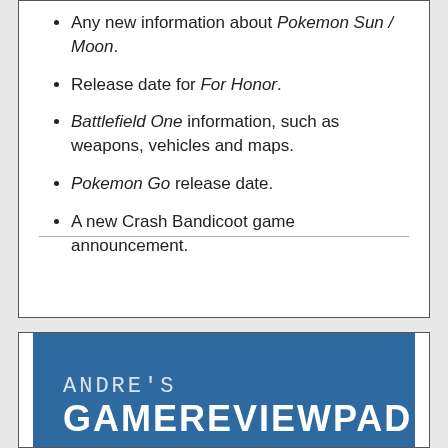Any new information about Pokemon Sun / Moon.
Release date for For Honor.
Battlefield One information, such as weapons, vehicles and maps.
Pokemon Go release date.
A new Crash Bandicoot game announcement.
[Figure (logo): Andre's GameReviewPad logo on blue background with stylized text]